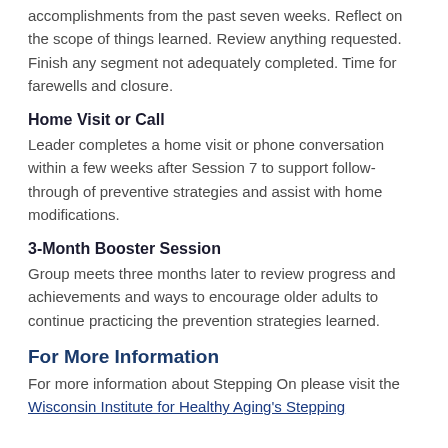accomplishments from the past seven weeks. Reflect on the scope of things learned. Review anything requested. Finish any segment not adequately completed. Time for farewells and closure.
Home Visit or Call
Leader completes a home visit or phone conversation within a few weeks after Session 7 to support follow-through of preventive strategies and assist with home modifications.
3-Month Booster Session
Group meets three months later to review progress and achievements and ways to encourage older adults to continue practicing the prevention strategies learned.
For More Information
For more information about Stepping On please visit the Wisconsin Institute for Healthy Aging's Stepping